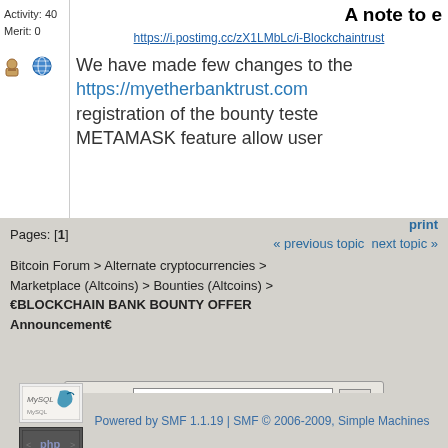Activity: 40
Merit: 0
A note to e
https://i.postimg.cc/zX1LMbLc/i-Blockchaintrust
We have made few changes to the
https://myetherbanktrust.com
registration of the bounty teste
METAMASK feature allow user
Pages: [1]
print
« previous topic next topic »
Bitcoin Forum > Alternate cryptocurrencies > Marketplace (Altcoins) > Bounties (Altcoins) > 🔐BLOCKCHAIN BANK BOUNTY OFFER Announcement🔐
Jump to:  ===> Bounties (Altcoins)   go
[Figure (logo): MySQL logo badge]
[Figure (logo): PHP logo badge]
Powered by SMF 1.1.19 | SMF © 2006-2009, Simple Machines